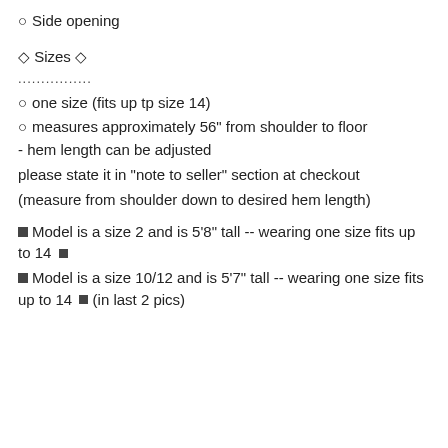○ Side opening
◇ Sizes ◇
................
○ one size (fits up tp size 14)
○ measures approximately 56" from shoulder to floor
- hem length can be adjusted
please state it in "note to seller" section at checkout
(measure from shoulder down to desired hem length)
■ Model is a size 2 and is 5'8" tall -- wearing one size fits up to 14 ■
■ Model is a size 10/12 and is 5'7" tall -- wearing one size fits up to 14 ■ (in last 2 pics)